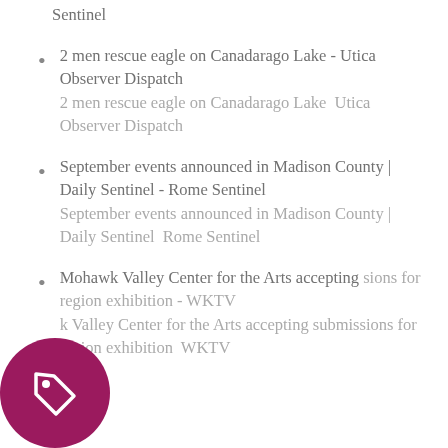Sentinel
2 men rescue eagle on Canadarago Lake - Utica Observer Dispatch
2 men rescue eagle on Canadarago Lake  Utica Observer Dispatch
September events announced in Madison County | Daily Sentinel - Rome Sentinel
September events announced in Madison County | Daily Sentinel  Rome Sentinel
Mohawk Valley Center for the Arts accepting submissions for region exhibition - WKTV
Mohawk Valley Center for the Arts accepting submissions for region exhibition  WKTV